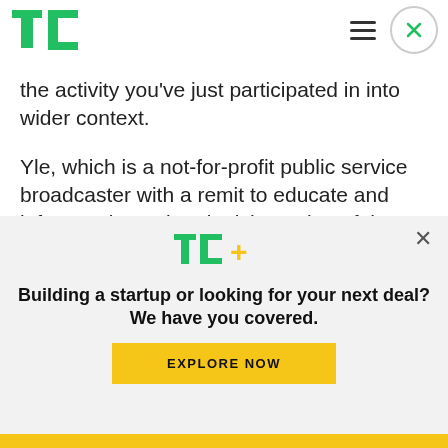TechCrunch logo, hamburger menu, close button
the activity you've just participated in into wider context.
Yle, which is a not-for-profit public service broadcaster with a remit to educate and inform, released a Finnish version of the troll factory game back in May but decided to follow up with this international version (in English) after the game got
[Figure (logo): TechCrunch TC+ logo in green and yellow]
Building a startup or looking for your next deal? We have you covered.
EXPLORE NOW